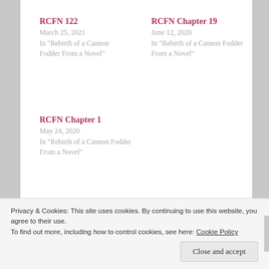RCFN 122
March 25, 2021
In "Rebirth of a Cannon Fodder From a Novel"
RCFN Chapter 19
June 12, 2020
In "Rebirth of a Cannon Fodder From a Novel"
RCFN Chapter 1
May 24, 2020
In "Rebirth of a Cannon Fodder From a Novel"
POSTED IN REBIRTH OF A CANNON FODDER FROM A NOVEL
RCFN     REBIRTH OF A CANNON FODDER FROM A NOVEL
Privacy & Cookies: This site uses cookies. By continuing to use this website, you agree to their use.
To find out more, including how to control cookies, see here: Cookie Policy
Close and accept